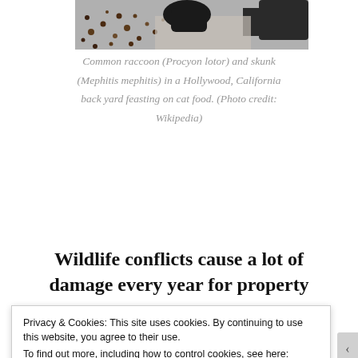[Figure (photo): Top portion of a photo showing a common raccoon and skunk in a Hollywood, California back yard with cat food/kibble scattered on a surface]
Common raccoon (Procyon lotor) and skunk (Mephitis mephitis) in a Hollywood, California back yard feasting on cat food. (Photo credit: Wikipedia)
Wildlife conflicts cause a lot of damage every year for property
Privacy & Cookies: This site uses cookies. By continuing to use this website, you agree to their use.
To find out more, including how to control cookies, see here: Cookie Policy